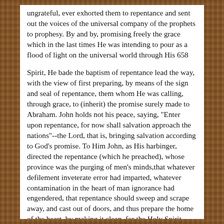ungrateful, ever exhorted them to repentance and sent out the voices of the universal company of the prophets to prophesy. By and by, promising freely the grace which in the last times He was intending to pour as a flood of light on the universal world through His 658
Spirit, He bade the baptism of repentance lead the way, with the view of first preparing, by means of the sign and seal of repentance, them whom He was calling, through grace, to (inherit) the promise surely made to Abraham. John holds not his peace, saying, "Enter upon repentance, for now shall salvation approach the nations"--the Lord, that is, bringing salvation according to God's promise. To Him John, as His harbinger, directed the repentance (which he preached), whose province was the purging of men's minds,that whatever defilement inveterate error had imparted, whatever contamination in the heart of man ignorance had engendered, that repentance should sweep and scrape away, and cast out of doors, and thus prepare the home of the heart, by making it clean, for the Holy Spirit, who was about to supervene, that He might with pleasure introduce Himself there-into, together with His celestial blessings. Of those blessings the first in flow and